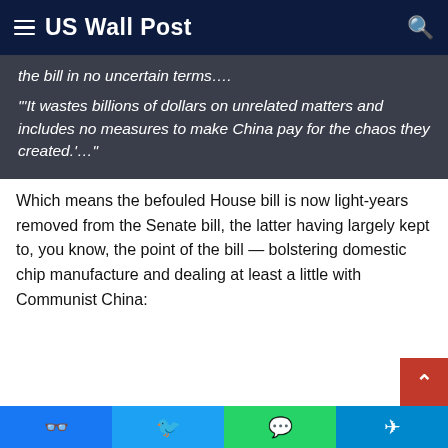US Wall Post
the bill in no uncertain terms….
"'It wastes billions of dollars on unrelated matters and includes no measures to make China pay for the chaos they created.'…"
Which means the befouled House bill is now light-years removed from the Senate bill, the latter having largely kept to, you know, the point of the bill — bolstering domestic chip manufacture and dealing at least a little with Communist China: